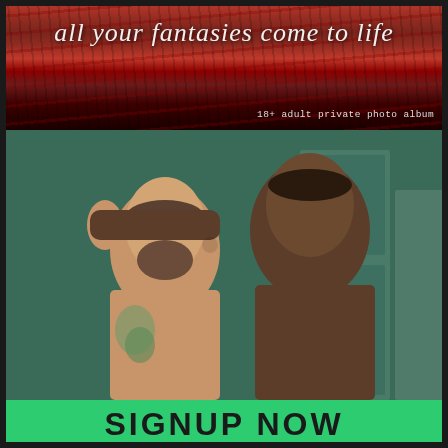all your fantasies come to life
18+ adult private photo album
[Figure (photo): Two shirtless muscular men facing each other closely in a locker room setting with green lockers in the background; one man with a beard and tattoos, the other darker-skinned and taller]
SIGNUP NOW